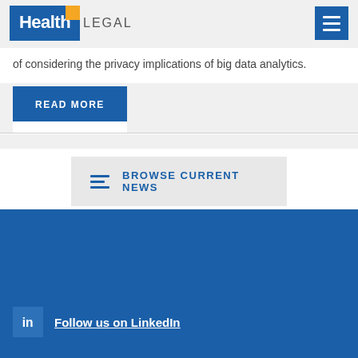Health Legal
of considering the privacy implications of big data analytics.
READ MORE
BROWSE CURRENT NEWS
Follow us on LinkedIn